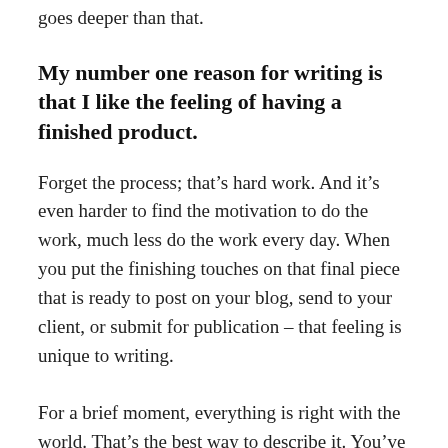goes deeper than that.
My number one reason for writing is that I like the feeling of having a finished product.
Forget the process; that’s hard work. And it’s even harder to find the motivation to do the work, much less do the work every day. When you put the finishing touches on that final piece that is ready to post on your blog, send to your client, or submit for publication – that feeling is unique to writing.
For a brief moment, everything is right with the world. That’s the best way to describe it. You’ve